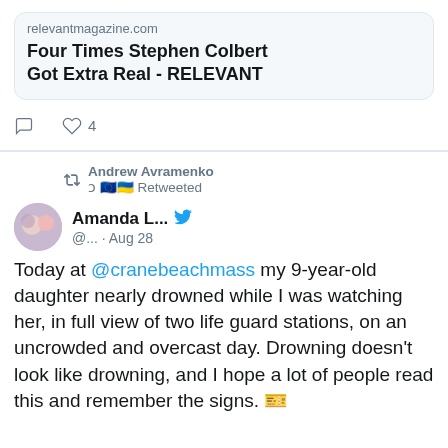[Figure (screenshot): Link preview card showing relevantmagazine.com article titled 'Four Times Stephen Colbert Got Extra Real - RELEVANT']
relevantmagazine.com
Four Times Stephen Colbert Got Extra Real - RELEVANT
4 likes
Andrew Avramenko 🇺 🇪🇺🇺🇦 Retweeted
[Figure (photo): Profile photo of Amanda L., showing a woman with glasses and a child]
Amanda L... @... · Aug 28
Today at @cranebeachmass my 9-year-old daughter nearly drowned while I was watching her, in full view of two life guard stations, on an uncrowded and overcast day. Drowning doesn't look like drowning, and I hope a lot of people read this and remember the signs. 🎫